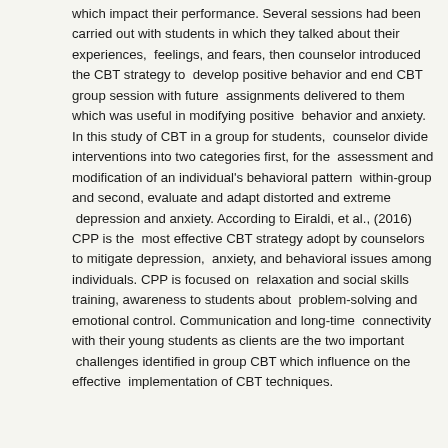which impact their performance. Several sessions had been carried out with students in which they talked about their experiences, feelings, and fears, then counselor introduced the CBT strategy to develop positive behavior and end CBT group session with future assignments delivered to them which was useful in modifying positive behavior and anxiety. In this study of CBT in a group for students, counselor divide interventions into two categories first, for the assessment and modification of an individual's behavioral pattern within-group and second, evaluate and adapt distorted and extreme depression and anxiety. According to Eiraldi, et al., (2016) CPP is the most effective CBT strategy adopt by counselors to mitigate depression, anxiety, and behavioral issues among individuals. CPP is focused on relaxation and social skills training, awareness to students about problem-solving and emotional control. Communication and long-time connectivity with their young students as clients are the two important challenges identified in group CBT which influence on the effective implementation of CBT techniques.